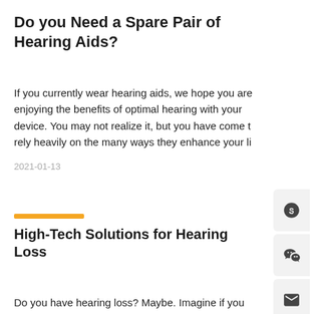Do you Need a Spare Pair of Hearing Aids?
If you currently wear hearing aids, we hope you are enjoying the benefits of optimal hearing with your device. You may not realize it, but you have come to rely heavily on the many ways they enhance your li
2021-01-13
High-Tech Solutions for Hearing Loss
Do you have hearing loss? Maybe. Imagine if you